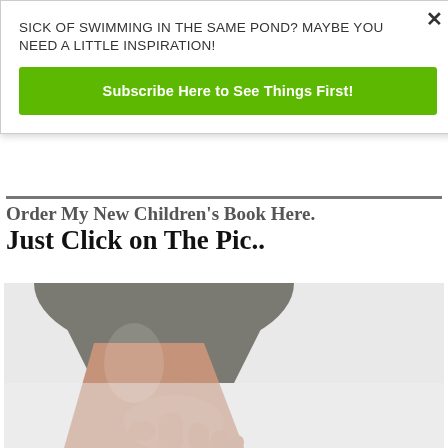SICK OF SWIMMING IN THE SAME POND? MAYBE YOU NEED A LITTLE INSPIRATION!
Subscribe Here to See Things First!
Order My New Children's Book Here. Just Click on The Pic..
[Figure (photo): A person's arm and hand pointing downward with two fingers, shown against a light background. The arm is wearing a grey long-sleeve shirt.]